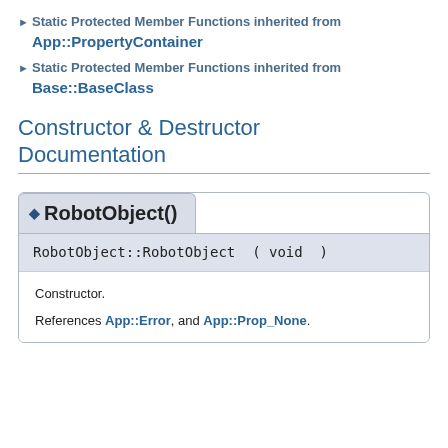▶ Static Protected Member Functions inherited from App::PropertyContainer
▶ Static Protected Member Functions inherited from Base::BaseClass
Constructor & Destructor Documentation
◆ RobotObject()
RobotObject::RobotObject ( void )
Constructor.
References App::Error, and App::Prop_None.